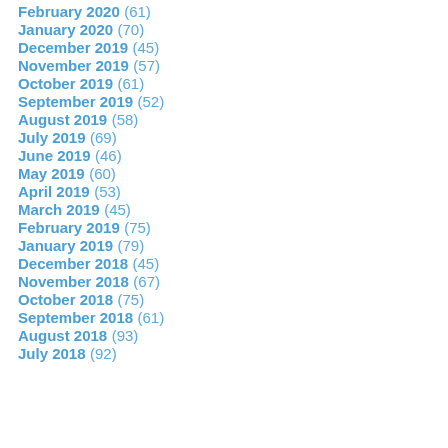February 2020 (61)
January 2020 (70)
December 2019 (45)
November 2019 (57)
October 2019 (61)
September 2019 (52)
August 2019 (58)
July 2019 (69)
June 2019 (46)
May 2019 (60)
April 2019 (53)
March 2019 (45)
February 2019 (75)
January 2019 (79)
December 2018 (45)
November 2018 (67)
October 2018 (75)
September 2018 (61)
August 2018 (93)
July 2018 (92)